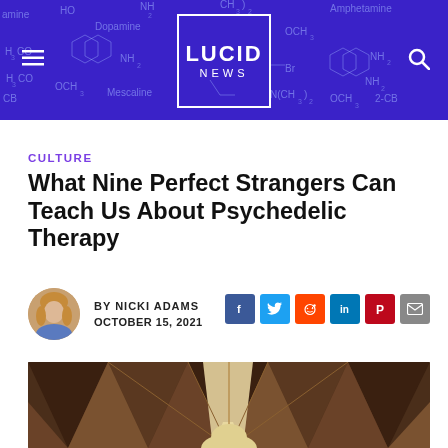[Figure (logo): Lucid News logo in white box on blue chemical structure background banner]
CULTURE
What Nine Perfect Strangers Can Teach Us About Psychedelic Therapy
BY NICKI ADAMS
OCTOBER 15, 2021
[Figure (photo): Photo of a woman under a geometric wooden ceiling structure]